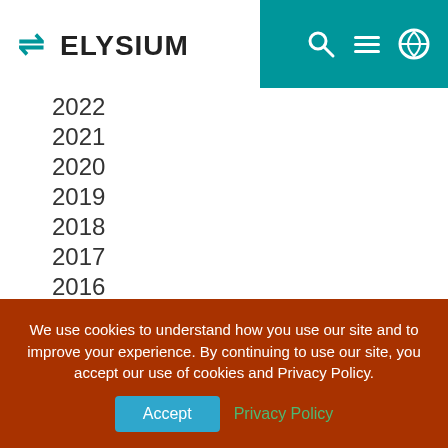ELYSIUM header with logo and navigation icons
2022
2021
2020
2019
2018
2017
2016
2015
2014
2013
We use cookies to understand how you use our site and to improve your experience. By continuing to use our site, you accept our use of cookies and Privacy Policy.